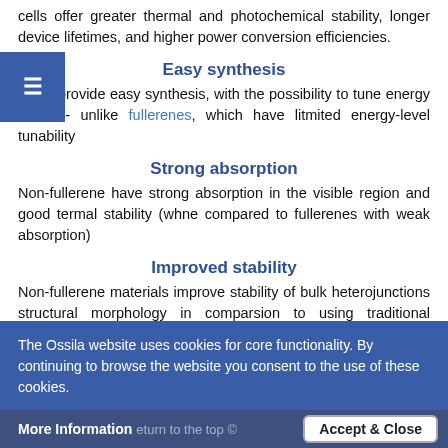cells offer greater thermal and photochemical stability, longer device lifetimes, and higher power conversion efficiencies.
Easy synthesis
NFAs provide easy synthesis, with the possibility to tune energy levels - unlike fullerenes, which have litmited energy-level tunability
Strong absorption
Non-fullerene have strong absorption in the visible region and good termal stability (whne compared to fullerenes with weak absorption)
Improved stability
Non-fullerene materials improve stability of bulk heterojunctions structural morphology in comparsion to using traditional fullerene.
The performance of NFA-based devices has now overtaken that of
The Ossila website uses cookies for core functionality. By continuing to browse the website you consent to the use of these cookies.
More Information    return to the top ©    Accept & Close